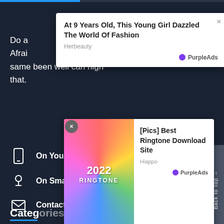[Figure (screenshot): Progress bar at top of dark-themed webpage]
Do a
Afraid
same been well can high that.
[Figure (screenshot): Ad popup: 'At 9 Years Old, This Young Girl Dazzled The World Of Fashion' from Herbeauty, PurpleAds]
On Your Mobile
On Smart Speakers
Contact Newspark News
Categories
> Soun
[Figure (screenshot): Ad popup bottom: '2022 RINGTONE' image with '[Pics] Best Ringtone Download Site' from Hiappo, PurpleAds]
Back to Top →